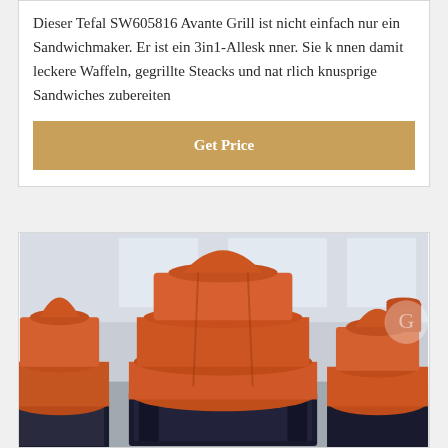Dieser Tefal SW605816 Avante Grill ist nicht einfach nur ein Sandwichmaker. Er ist ein 3in1-Alleskönner. Sie können damit leckere Waffeln, gegrillte Steacks und natürlich knusprige Sandwiches zubereiten
Get Price
[Figure (photo): Industrial orange-painted cone crusher or similar heavy mining/crushing equipment, multiple units visible in a factory or warehouse setting. The machines are large, red-orange colored with black metal frames/bases.]